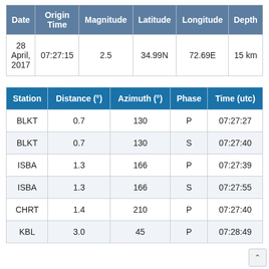| Date | Origin Time | Magnitude | Latitude | Longitude | Depth |
| --- | --- | --- | --- | --- | --- |
| 28 April, 2017 | 07:27:15 | 2.5 | 34.99N | 72.69E | 15 km |
| Station | Distance (°) | Azimuth (°) | Phase | Time (utc) |
| --- | --- | --- | --- | --- |
| BLKT | 0.7 | 130 | P | 07:27:27 |
| BLKT | 0.7 | 130 | S | 07:27:40 |
| ISBA | 1.3 | 166 | P | 07:27:39 |
| ISBA | 1.3 | 166 | S | 07:27:55 |
| CHRT | 1.4 | 210 | P | 07:27:40 |
| KBL | 3.0 | 45 | P | 07:28:49 |